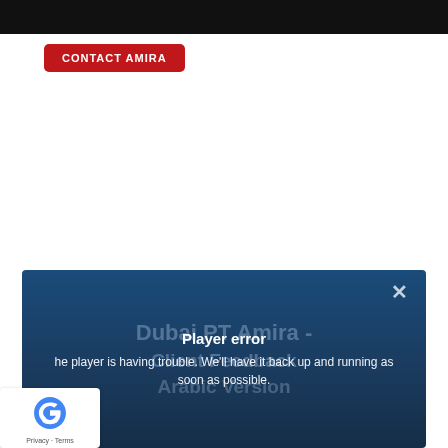[Figure (screenshot): Black top navigation bar of a website]
CONTACT AMIRA
[Figure (screenshot): Video player with dark blue background showing watermark text 'Dubai PT Amira - Client Feedback Arabic Version' with a player error overlay: 'Player error' and 'The player is having trouble. We'll have it back up and running as soon as possible.' with a close (X) button]
Player error
The player is having trouble. We'll have it back up and running as soon as possible.
[Figure (logo): reCAPTCHA badge with Privacy and Terms links]